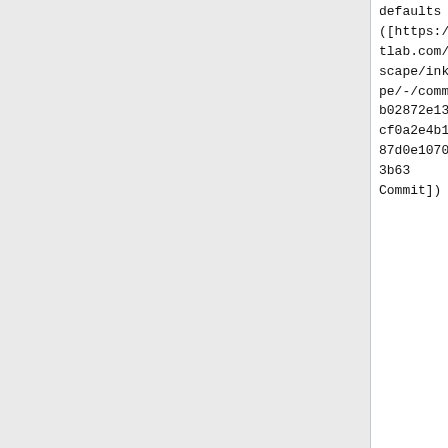defaults ([https://gitlab.com/inkscape/inkscape/-/commit/b02872e1324ccf0a2e4b145a87d0e107025e3b63 Commit])
defaults ([https://gitlab.com/inkscape/inkscape/-/commit/b02872e1324ccf0a2e4b145a87d0e107025e3b63 Commit])
* The '''Knot LPE''' allows to switch the direction of self-crossings ([https://gitlab.com/inkscape/inksca